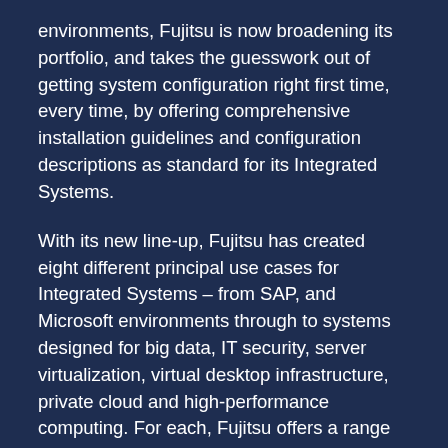environments, Fujitsu is now broadening its portfolio, and takes the guesswork out of getting system configuration right first time, every time, by offering comprehensive installation guidelines and configuration descriptions as standard for its Integrated Systems.
With its new line-up, Fujitsu has created eight different principal use cases for Integrated Systems – from SAP, and Microsoft environments through to systems designed for big data, IT security, server virtualization, virtual desktop infrastructure, private cloud and high-performance computing. For each, Fujitsu offers a range of solutions, with brands including FlexFrame, RapidStructure and vShape.
For organizations looking for the next level of